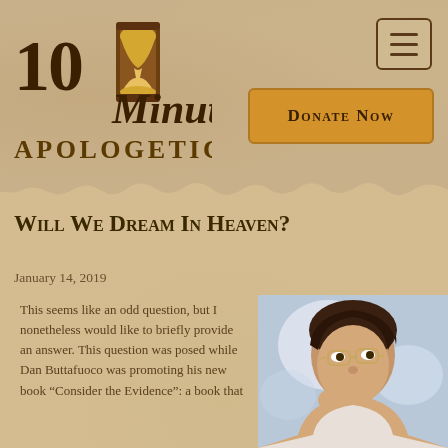[Figure (logo): 10 Minute Apologetics logo with hourglass graphic and text]
[Figure (other): Navigation menu hamburger button icon]
[Figure (other): Donate Now button with orange background]
Will We Dream In Heaven?
January 14, 2019
This seems like an odd question, but I nonetheless would like to briefly provide an answer. This question was posed while Dan Buttafuoco was promoting his new book “Consider the Evidence”: a book that
[Figure (photo): Young woman with glasses looking upward thoughtfully, bokeh background]